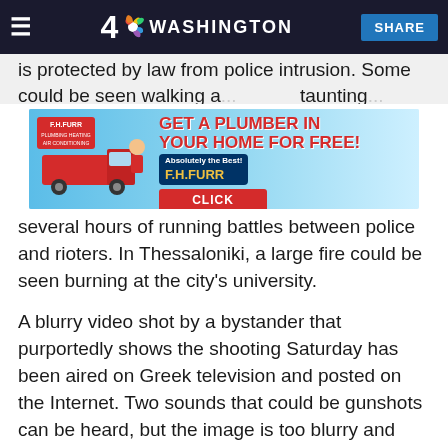4 NBC WASHINGTON | SHARE
is protected by law from police intrusion. Some could be seen walking a...  taunting...
[Figure (screenshot): Advertisement banner for F.H. Furr plumbing: 'GET A PLUMBER IN YOUR HOME FOR FREE! CLICK HERE']
several hours of running battles between police and rioters. In Thessaloniki, a large fire could be seen burning at the city's university.
A blurry video shot by a bystander that purportedly shows the shooting Saturday has been aired on Greek television and posted on the Internet. Two sounds that could be gunshots can be heard, but the image is too blurry and distant to show the events clearly.
Greece has seen frequent and sometimes violent demonstrations recently against the increasingly unpopular conservative government of Prime Minister Costas